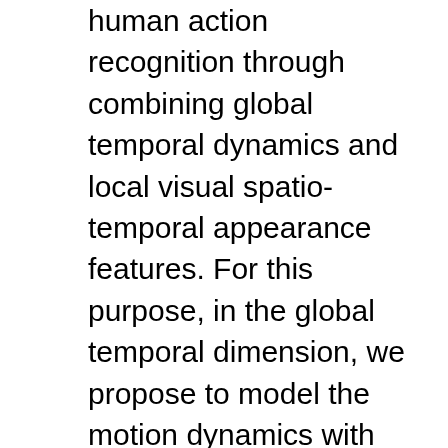human action recognition through combining global temporal dynamics and local visual spatio-temporal appearance features. For this purpose, in the global temporal dimension, we propose to model the motion dynamics with robust linear dynamical systems (LDSs) and use the model parameters as motion descriptors. Since LDSs live in a non-Euclidean space and the descriptors are in non-vector form, we propose a shift invariant subspace angles based distance to measure the similarity between LDSs. In the local visual dimension, we construct curved spatio-temporal cuboids along the trajectories of densely sampled feature points and describe them using histograms of oriented gradients (HOG). The distance between motion sequences is computed with the Chi-Squared histogram distance in the bag-of-words framework. Finally we perform classification using the maximum margin distance learning method by combining the